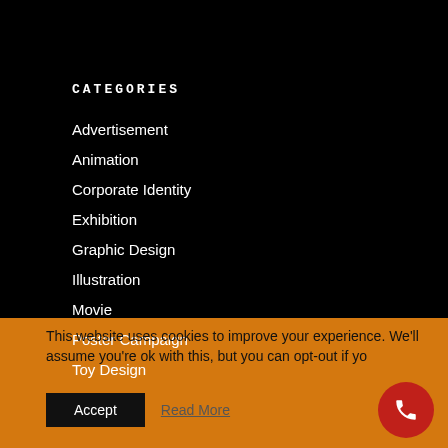CATEGORIES
Advertisement
Animation
Corporate Identity
Exhibition
Graphic Design
Illustration
Movie
Poster Campaign
Toy Design
This website uses cookies to improve your experience. We'll assume you're ok with this, but you can opt-out if yo
Accept
Read More